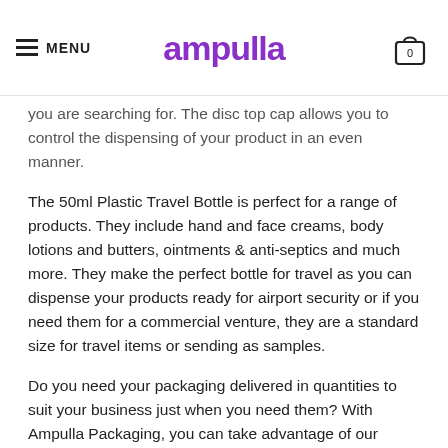MENU | Ampulla | 0
you are searching for. The disc top cap allows you to control the dispensing of your product in an even manner.
The 50ml Plastic Travel Bottle is perfect for a range of products. They include hand and face creams, body lotions and butters, ointments & anti-septics and much more. They make the perfect bottle for travel as you can dispense your products ready for airport security or if you need them for a commercial venture, they are a standard size for travel items or sending as samples.
Do you need your packaging delivered in quantities to suit your business just when you need them? With Ampulla Packaging, you can take advantage of our economies of scale and just in time supply chains regardless of your order size. Buy as little as a single unit at amazing prices. You will be provided with large bulk discounts automatically when buying in bulk. We do